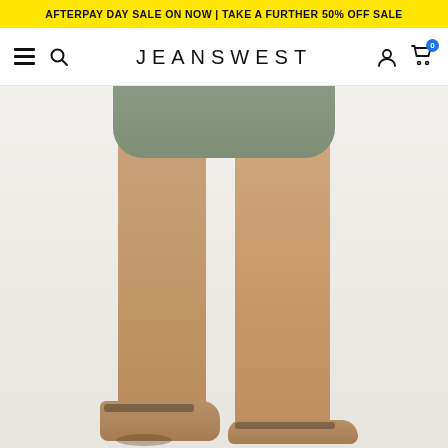AFTERPAY DAY SALE ON NOW | TAKE A FURTHER 50% OFF SALE
[Figure (logo): Jeanswest website navigation bar with hamburger menu, search icon, JEANSWEST brand name, user account icon, and shopping cart icon with 0 items badge]
[Figure (photo): Lower body of a female model wearing an olive green mini skirt and tan/nude slide sandals with a buckle detail, photographed against a light grey-white background]